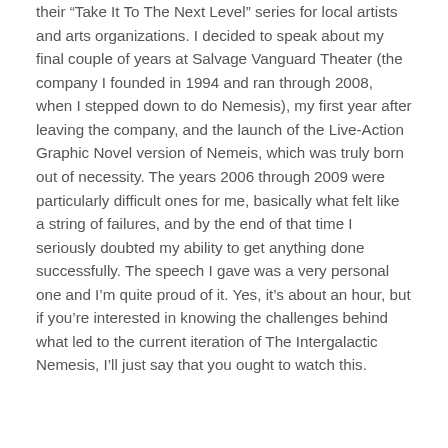their “Take It To The Next Level” series for local artists and arts organizations. I decided to speak about my final couple of years at Salvage Vanguard Theater (the company I founded in 1994 and ran through 2008, when I stepped down to do Nemesis), my first year after leaving the company, and the launch of the Live-Action Graphic Novel version of Nemeis, which was truly born out of necessity. The years 2006 through 2009 were particularly difficult ones for me, basically what felt like a string of failures, and by the end of that time I seriously doubted my ability to get anything done successfully. The speech I gave was a very personal one and I’m quite proud of it. Yes, it’s about an hour, but if you’re interested in knowing the challenges behind what led to the current iteration of The Intergalactic Nemesis, I’ll just say that you ought to watch this.